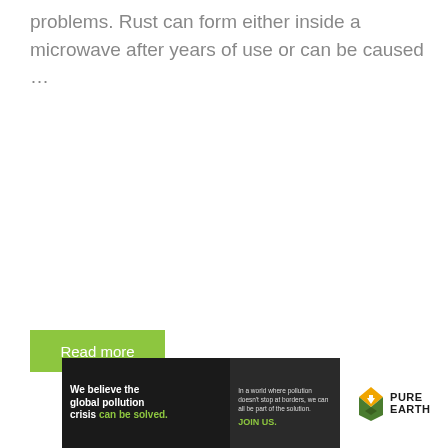problems. Rust can form either inside a microwave after years of use or can be caused …
[Figure (other): Green 'Read more' button]
[Figure (other): Pure Earth advertisement banner. Left section (dark background): 'We believe the global pollution crisis can be solved.' Middle section: 'In a world where pollution doesn't stop at borders, we can all be part of the solution. JOIN US.' Right section (white background): Pure Earth logo with diamond/arrow icon and text 'PURE EARTH'.]